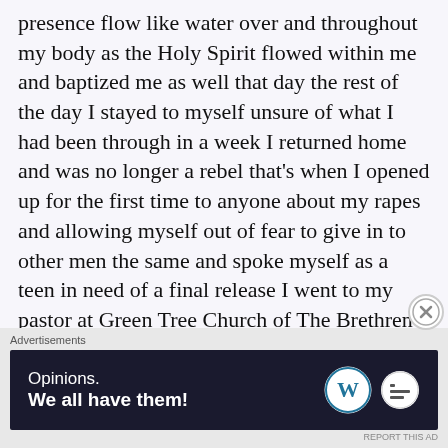presence flow like water over and throughout my body as the Holy Spirit flowed within me and baptized me as well that day the rest of the day I stayed to myself unsure of what I had been through in a week I returned home and was no longer a rebel that's when I opened up for the first time to anyone about my rapes and allowing myself out of fear to give in to other men the same and spoke myself as a teen in need of a final release I went to my pastor at Green Tree Church of The Brethren as had been told and I sat alone with him for about 2 hrs as we spoke and expressed to him that I wanted to become a
[Figure (other): Close button (X in circle) overlay on right side]
Advertisements
[Figure (other): WordPress advertisement banner: 'Opinions. We all have them!' with WordPress logo and dots logo on dark background]
REPORT THIS AD